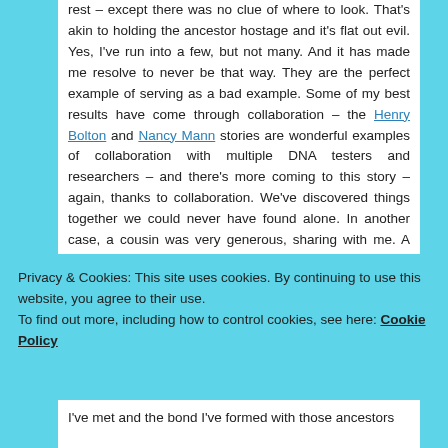rest – except there was no clue of where to look. That's akin to holding the ancestor hostage and it's flat out evil. Yes, I've run into a few, but not many. And it has made me resolve to never be that way. They are the perfect example of serving as a bad example. Some of my best results have come through collaboration – the Henry Bolton and Nancy Mann stories are wonderful examples of collaboration with multiple DNA testers and researchers – and there's more coming to this story – again, thanks to collaboration. We've discovered things together we could never have found alone. In another case, a cousin was very generous, sharing with me. A few months later, I wrote to ask him something, and he told me he had lost everything. I sent him his entire package of information he had sent me, plus some. He was ever so grateful he had
Privacy & Cookies: This site uses cookies. By continuing to use this website, you agree to their use.
To find out more, including how to control cookies, see here: Cookie Policy
Close and accept
I've met and the bond I've formed with those ancestors